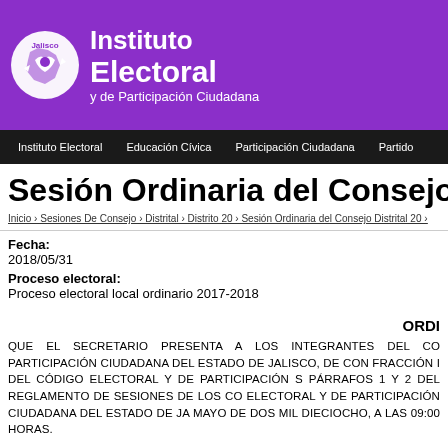[Figure (logo): Instituto Electoral y de Participación Ciudadana de Jalisco logo with purple banner background]
Instituto Electoral | Educación Cívica | Participación Ciudadana | Partido
Sesión Ordinaria del Consejo Dist
Inicio › Sesiones De Consejo › Distrital › Distrito 20 › Sesión Ordinaria del Consejo Distrital 20 ›
Fecha:
2018/05/31
Proceso electoral:
Proceso electoral local ordinario 2017-2018
ORDI
QUE EL SECRETARIO PRESENTA A LOS INTEGRANTES DEL CO PARTICIPACIÓN CIUDADANA DEL ESTADO DE JALISCO, DE CON FRACCIÓN I DEL CÓDIGO ELECTORAL Y DE PARTICIPACIÓN S PÁRRAFOS 1 Y 2 DEL REGLAMENTO DE SESIONES DE LOS CO ELECTORAL Y DE PARTICIPACIÓN CIUDADANA DEL ESTADO DE JA MAYO DE DOS MIL DIECIOCHO, A LAS 09:00 HORAS.